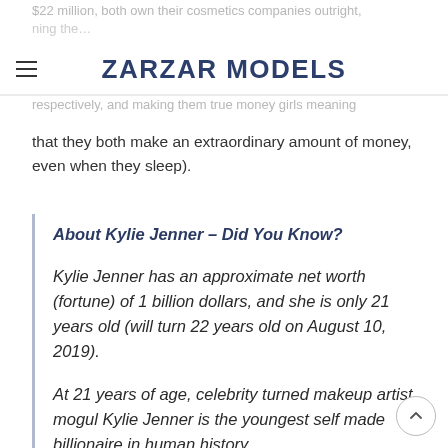$22 million, both own their cosmetics companies outright, saving the…
ZARZAR MODELS
respectively, and making them true money girls meaning that they both make an extraordinary amount of money, even when they sleep).
About Kylie Jenner – Did You Know?
Kylie Jenner has an approximate net worth (fortune) of 1 billion dollars, and she is only 21 years old (will turn 22 years old on August 10, 2019).
At 21 years of age, celebrity turned makeup artist mogul Kylie Jenner is the youngest self made billionaire in human history.